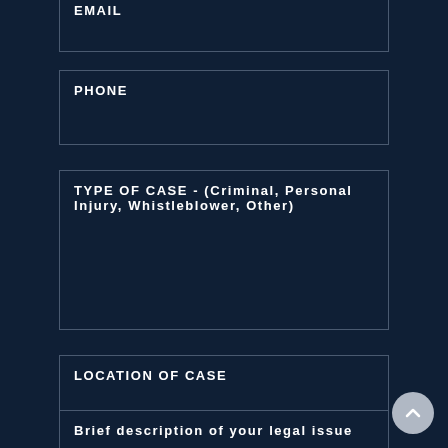EMAIL
PHONE
TYPE OF CASE - (Criminal, Personal Injury, Whistleblower, Other)
LOCATION OF CASE
Brief description of your legal issue